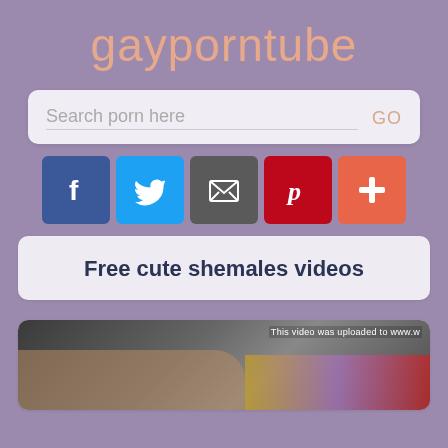gayporntube
[Figure (screenshot): Search bar with placeholder text 'Search porn here' and 'GO' button on right]
[Figure (infographic): Social media sharing buttons: Facebook (f), Twitter (bird), Email (envelope), Pinterest (p), Plus (+)]
Free cute shemales videos
[Figure (photo): Video thumbnail showing two people, with overlay text 'This video was uploaded to www...']